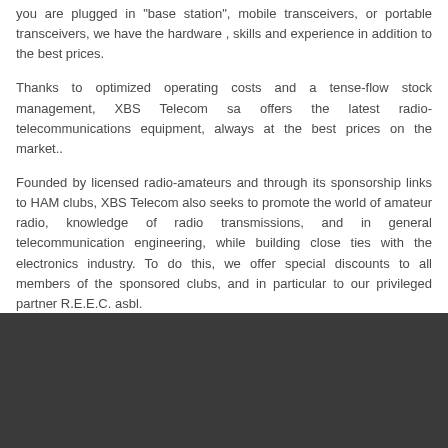you are plugged in "base station", mobile transceivers, or portable transceivers, we have the hardware , skills and experience in addition to the best prices.
Thanks to optimized operating costs and a tense-flow stock management, XBS Telecom sa offers the latest radio-telecommunications equipment, always at the best prices on the market..
Founded by licensed radio-amateurs and through its sponsorship links to HAM clubs, XBS Telecom also seeks to promote the world of amateur radio, knowledge of radio transmissions, and in general telecommunication engineering, while building close ties with the electronics industry. To do this, we offer special discounts to all members of the sponsored clubs, and in particular to our privileged partner R.E.E.C. asbl.